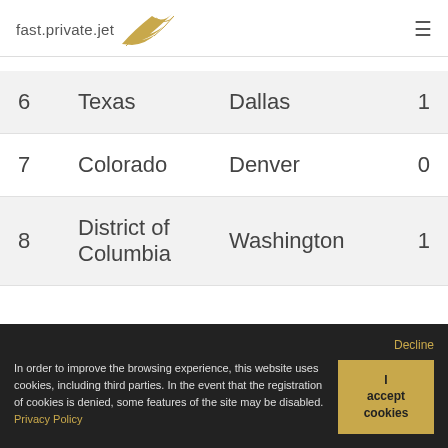fast.private.jet
| # | State | City | Count |
| --- | --- | --- | --- |
| 6 | Texas | Dallas | 1 |
| 7 | Colorado | Denver | 0 |
| 8 | District of Columbia | Washington | 1 |
In order to improve the browsing experience, this website uses cookies, including third parties. In the event that the registration of cookies is denied, some features of the site may be disabled. Privacy Policy
Decline
I accept cookies